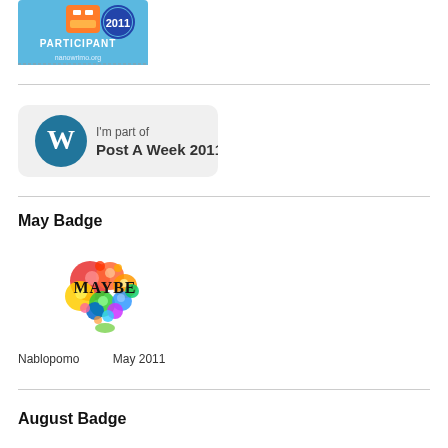[Figure (illustration): NaNoWriMo 2011 Participant badge with blue background showing robot and text 'PARTICIPANT 2011 nanowrimo.org']
[Figure (logo): WordPress logo badge with text 'I'm part of Post A Week 2011']
May Badge
[Figure (illustration): Colorful brain made of gears/circles with text 'MAYBE' overlaid, Nablopomo May 2011 badge]
Nablopomo    May 2011
August Badge